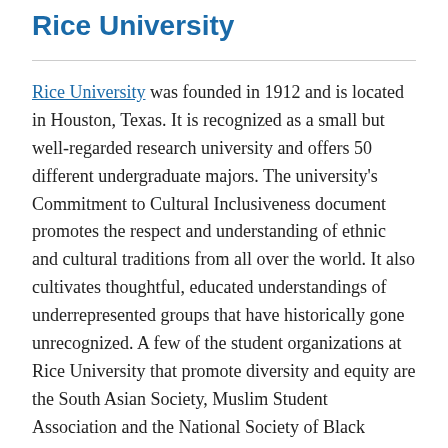Rice University
Rice University was founded in 1912 and is located in Houston, Texas. It is recognized as a small but well-regarded research university and offers 50 different undergraduate majors. The university's Commitment to Cultural Inclusiveness document promotes the respect and understanding of ethnic and cultural traditions from all over the world. It also cultivates thoughtful, educated understandings of underrepresented groups that have historically gone unrecognized. A few of the student organizations at Rice University that promote diversity and equity are the South Asian Society, Muslim Student Association and the National Society of Black